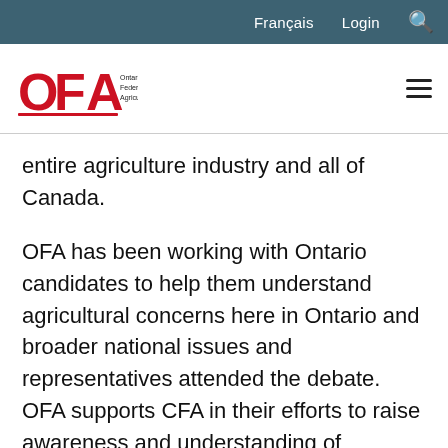Français  Login  🔍
[Figure (logo): OFA - Ontario Federation of Agriculture logo with red stylized letters and hamburger menu icon]
entire agriculture industry and all of Canada.
OFA has been working with Ontario candidates to help them understand agricultural concerns here in Ontario and broader national issues and representatives attended the debate. OFA supports CFA in their efforts to raise awareness and understanding of